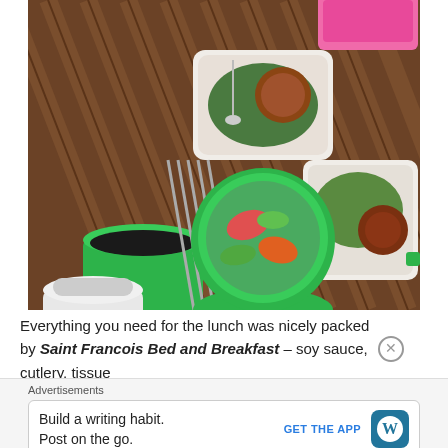[Figure (photo): Overhead view of a meal spread on a bamboo table with green plastic containers holding rice, vegetables (bok choy, bell peppers, celery), and grilled chicken. Chopsticks and a white pitcher visible. Person's feet visible at bottom left. Pink container at top.]
Everything you need for the lunch was nicely packed by Saint Francois Bed and Breakfast – soy sauce, cutlery, tissue
Advertisements
Build a writing habit. Post on the go.
GET THE APP